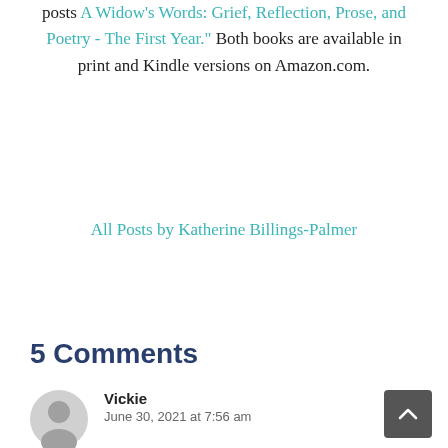posts A Widow's Words: Grief, Reflection, Prose, and Poetry - The First Year." Both books are available in print and Kindle versions on Amazon.com.
All Posts by Katherine Billings-Palmer
5 Comments
Vickie
June 30, 2021 at 7:56 am